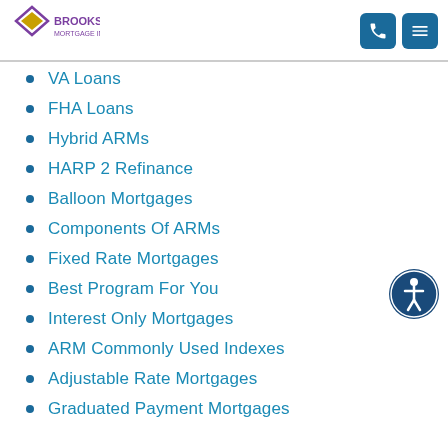[Figure (logo): Brooks Mortgage Inc. logo with diamond shape and company name]
VA Loans
FHA Loans
Hybrid ARMs
HARP 2 Refinance
Balloon Mortgages
Components Of ARMs
Fixed Rate Mortgages
Best Program For You
Interest Only Mortgages
ARM Commonly Used Indexes
Adjustable Rate Mortgages
Graduated Payment Mortgages